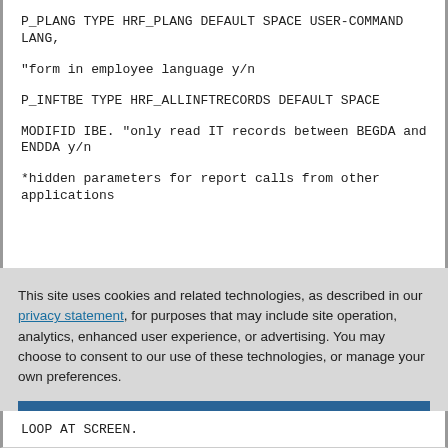P_PLANG TYPE HRF_PLANG DEFAULT SPACE USER-COMMAND LANG,
"form in employee language y/n
P_INFTBE TYPE HRF_ALLINFTRECORDS DEFAULT SPACE
MODIFID IBE. "only read IT records between BEGDA and ENDDA y/n
*hidden parameters for report calls from other applications
This site uses cookies and related technologies, as described in our privacy statement, for purposes that may include site operation, analytics, enhanced user experience, or advertising. You may choose to consent to our use of these technologies, or manage your own preferences.
Accept Cookies
More Information
Privacy Policy | Powered by: TrustArc
LOOP AT SCREEN.